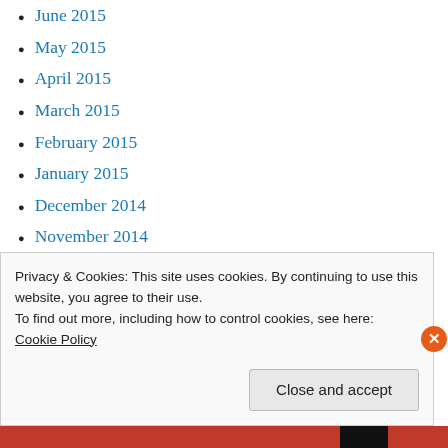June 2015
May 2015
April 2015
March 2015
February 2015
January 2015
December 2014
November 2014
October 2014
September 2014
August 2014
Privacy & Cookies: This site uses cookies. By continuing to use this website, you agree to their use.
To find out more, including how to control cookies, see here:
Cookie Policy
Close and accept